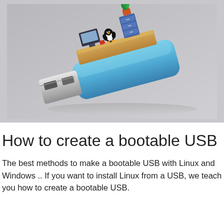[Figure (illustration): 3D illustration of a blue USB flash drive with a miniature office scene on top, including a small computer monitor, a Linux penguin mascot, a filing cabinet with a plant, and a wooden desk surface. The drive shows a USB Type-A connector on the left. Background is light gray.]
How to create a bootable USB
The best methods to make a bootable USB with Linux and Windows .. If you want to install Linux from a USB, we teach you how to create a bootable USB.